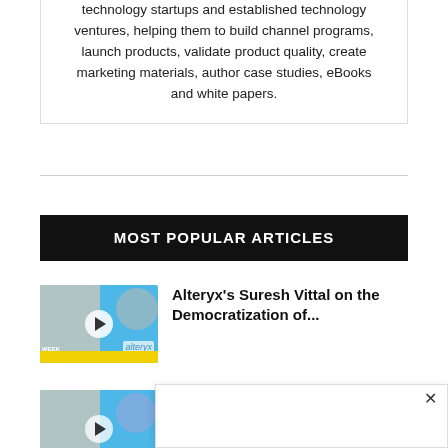technology startups and established technology ventures, helping them to build channel programs, launch products, validate product quality, create marketing materials, author case studies, eBooks and white papers.
MOST POPULAR ARTICLES
[Figure (photo): Thumbnail image with blue background showing two people and Alteryx branding with a play button]
Alteryx's Suresh Vittal on the Democratization of...
[Figure (photo): Thumbnail image with blue background showing a person and Visa branding with a play button]
Visa's Michael Jabbara on